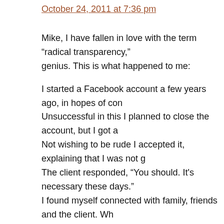October 24, 2011 at 7:36 pm
Mike, I have fallen in love with the term “radical transparency,” genius. This is what happened to me:
I started a Facebook account a few years ago, in hopes of con... Unsuccessful in this I planned to close the account, but I got a... Not wishing to be rude I accepted it, explaining that I was not g... The client responded, “You should. It’s necessary these days.” I found myself connected with family, friends and the client. Wh... member of online communities on the MSN Network in the '90... minded people, mostly married and around my age in various... posted status messages. I soon had a mix of relatives, virtual f... colleagues and clients. I just stayed in my little group, which ha... turned in to a good many groups, and kept my wall clean, occa... music or videos I wanted to share. But I had already posted so... What to do? I did nothing and kept my activity at a minimum.
Before I realized it, my friends numbered in the hundreds. I dic... I have worked for myself in three careers, all of which I sustain... want to refuse the friend requests of clients, so I discussed it...